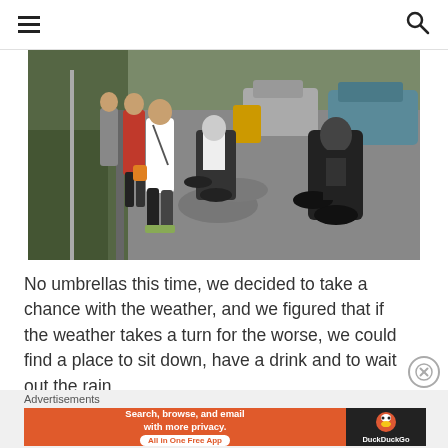Navigation menu and search icon
[Figure (photo): Outdoor photo showing people walking along a roadside path with motorcycles and cars on the road beside them, surrounded by greenery on a hilly area.]
No umbrellas this time, we decided to take a chance with the weather, and we figured that if the weather takes a turn for the worse, we could find a place to sit down, have a drink and to wait out the rain.
Advertisements
[Figure (screenshot): DuckDuckGo advertisement banner: 'Search, browse, and email with more privacy. All in One Free App' with DuckDuckGo logo on dark background.]